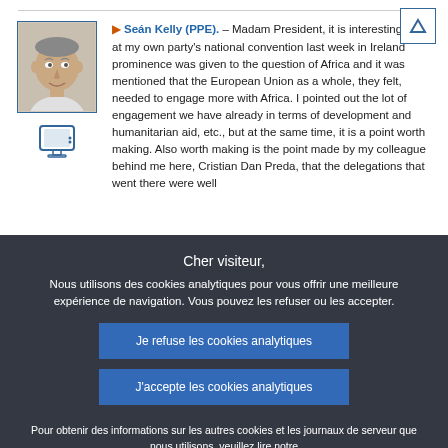Seán Kelly (PPE). – Madam President, it is interesting that at my own party's national convention last week in Ireland prominence was given to the question of Africa and it was mentioned that the European Union as a whole, they felt, needed to engage more with Africa. I pointed out the lot of engagement we have already in terms of development and humanitarian aid, etc., but at the same time, it is a point worth making. Also worth making is the point made by my colleague behind me here, Cristian Dan Preda, that the delegations that went there were well
Cher visiteur,
Nous utilisons des cookies analytiques pour vous offrir une meilleure expérience de navigation. Vous pouvez les refuser ou les accepter.
Je refuse les cookies analytiques
J'accepte les cookies analytiques
Pour obtenir des informations sur les autres cookies et les journaux de serveur que nous utilisons, veuillez lire notre politique de protection des données , notre politique d'utilisation des cookies et notre inventaire des cookies.